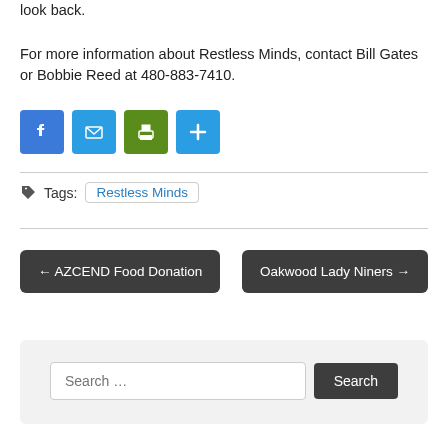look back.
For more information about Restless Minds, contact Bill Gates or Bobbie Reed at 480-883-7410.
[Figure (other): Social sharing icons: Facebook (blue), Email (blue), Print (green), Share/Plus (blue)]
Tags: Restless Minds
← AZCEND Food Donation
Oakwood Lady Niners →
Search ...